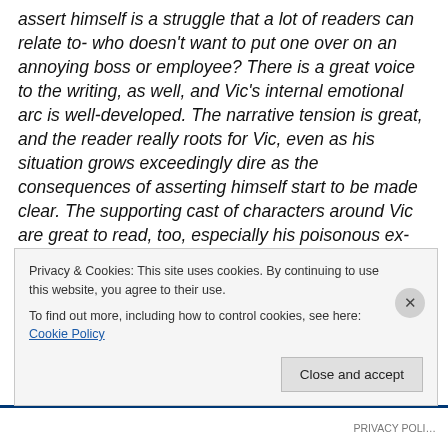assert himself is a struggle that a lot of readers can relate to- who doesn't want to put one over on an annoying boss or employee? There is a great voice to the writing, as well, and Vic's internal emotional arc is well-developed. The narrative tension is great, and the reader really roots for Vic, even as his situation grows exceedingly dire as the consequences of asserting himself start to be made clear. The supporting cast of characters around Vic are great to read, too, especially his poisonous ex-wife. Towards the beginning of the book the portrait we get of Vic is a bit too skewed towards the sad-sack end of things, his self-
Privacy & Cookies: This site uses cookies. By continuing to use this website, you agree to their use.
To find out more, including how to control cookies, see here: Cookie Policy
Close and accept